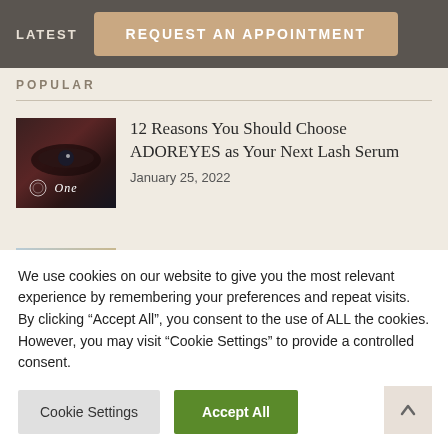LATEST | REQUEST AN APPOINTMENT
POPULAR
[Figure (photo): Thumbnail photo of an eye with lash serum product branding, text 'One']
12 Reasons You Should Choose ADOREYES as Your Next Lash Serum
January 25, 2022
[Figure (photo): Thumbnail photo of a young woman wearing a winter hat, smiling outdoors]
Winter Sun Protection
December 27, 2021
We use cookies on our website to give you the most relevant experience by remembering your preferences and repeat visits. By clicking “Accept All”, you consent to the use of ALL the cookies. However, you may visit “Cookie Settings” to provide a controlled consent.